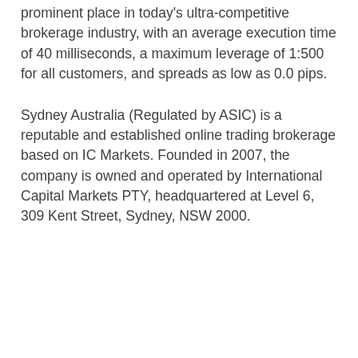prominent place in today's ultra-competitive brokerage industry, with an average execution time of 40 milliseconds, a maximum leverage of 1:500 for all customers, and spreads as low as 0.0 pips.
Sydney Australia (Regulated by ASIC) is a reputable and established online trading brokerage based on IC Markets. Founded in 2007, the company is owned and operated by International Capital Markets PTY, headquartered at Level 6, 309 Kent Street, Sydney, NSW 2000.